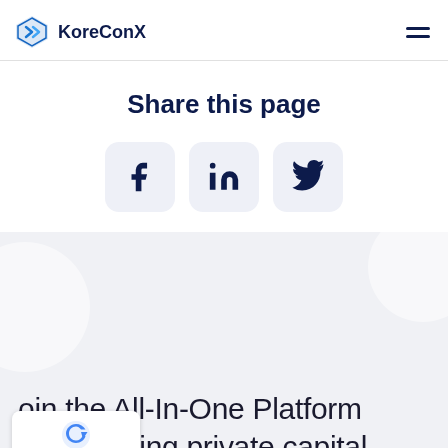KoreConX
Share this page
[Figure (infographic): Three social media share buttons: Facebook (f), LinkedIn (in), and Twitter (bird icon) on light blue-gray rounded square backgrounds]
[Figure (illustration): Light gray decorative section with two white semi-transparent circles on left and right sides]
Join the All-In-One Platform empowering private capital